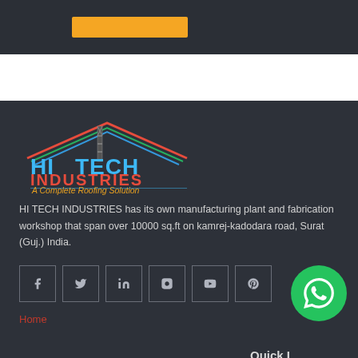[Figure (logo): Yellow/orange button on dark background header area]
[Figure (logo): Hi Tech Industries logo with roofing illustration, red/blue/orange text, tagline 'A Complete Roofing Solution']
HI TECH INDUSTRIES has its own manufacturing plant and fabrication workshop that span over 10000 sq.ft on kamrej-kadodara road, Surat (Guj.) India.
[Figure (infographic): Social media icons: Facebook, Twitter, LinkedIn, Instagram, YouTube, Pinterest in outlined square boxes]
Quick L
[Figure (logo): WhatsApp floating button - green circle with WhatsApp icon]
Home